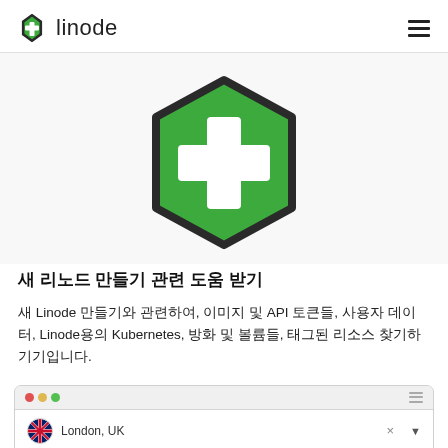linode
[Figure (logo): Green hexagon icon with a white plus/cross symbol in the center, dark border]
새 리노드 만들기 관련 도움 받기
새 Linode 만들기와 관련하여, 이미지 및 API 토큰들, 사용자 데이터, Linode용의 Kubernetes, 방화 및 볼륨들, 태그된 리소스 찾기하기기입니다.
[Figure (screenshot): Browser mockup showing a location selector with UK flag and 'London, UK' text]